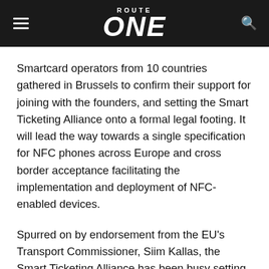ROUTE ONE
Smartcard operators from 10 countries gathered in Brussels to confirm their support for joining with the founders, and setting the Smart Ticketing Alliance onto a formal legal footing. It will lead the way towards a single specification for NFC phones across Europe and cross border acceptance facilitating the implementation and deployment of NFC-enabled devices.
Spurred on by endorsement from the EU's Transport Commissioner, Siim Kallas, the Smart Ticketing Alliance has been busy setting up Working Groups looking at the contactless interface, NFC, certification and media security.
Originally set up by the national smart ticketing